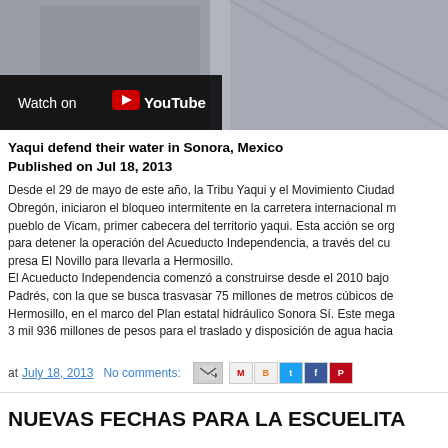[Figure (screenshot): Video thumbnail showing people sitting, with a YouTube 'Watch on YouTube' overlay bar at bottom left]
Yaqui defend their water in Sonora, Mexico
Published on Jul 18, 2013
Desde el 29 de mayo de este año, la Tribu Yaqui y el Movimiento Ciudad Obregón, iniciaron el bloqueo intermitente en la carretera internacional m pueblo de Vicam, primer cabecera del territorio yaqui. Esta acción se org para detener la operación del Acueducto Independencia, a través del cu presa El Novillo para llevarla a Hermosillo.
El Acueducto Independencia comenzó a construirse desde el 2010 bajo Padrés, con la que se busca trasvasar 75 millones de metros cúbicos de Hermosillo, en el marco del Plan estatal hidráulico Sonora Sí. Este mega 3 mil 936 millones de pesos para el traslado y disposición de agua hacia
at July 18, 2013   No comments:
NUEVAS FECHAS PARA LA ESCUELITA